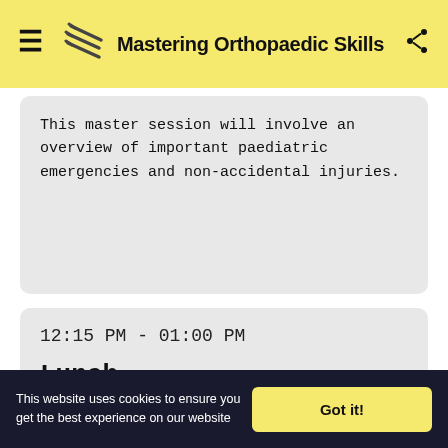Mastering Orthopaedic Skills
This master session will involve an overview of important paediatric emergencies and non-accidental injuries.
12:15 PM - 01:00 PM
Lunch
Lunch will be served and you will be mesmerised with an enchanting magic show by an orthopod!
This website uses cookies to ensure you get the best experience on our website